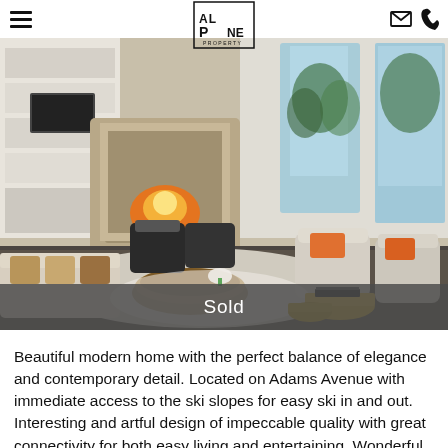Alpine Property — navigation header with logo, hamburger menu, email icon, phone icon
[Figure (photo): Interior photo of a beautiful modern living room with a fireplace, wicker coffee table, white sofas, armchairs with orange pillows, and large windows with trees outside. A 'Sold' banner overlays the bottom of the image.]
Beautiful modern home with the perfect balance of elegance and contemporary detail. Located on Adams Avenue with immediate access to the ski slopes for easy ski in and out. Interesting and artful design of impeccable quality with great connectivity for both easy living and entertaining. Wonderful views of the